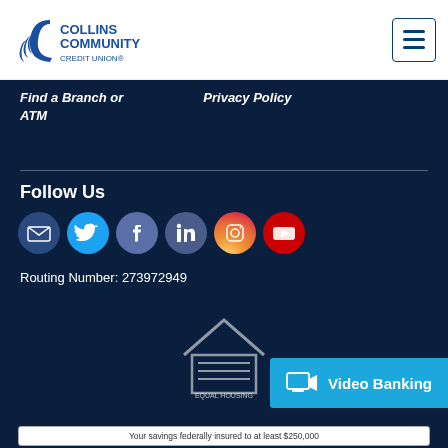[Figure (logo): Collins Community Credit Union logo with blue stylized C graphic]
[Figure (other): Hamburger menu icon (three horizontal lines) in a bordered box]
Find a Branch or ATM   Privacy Policy
Follow Us
[Figure (other): Social media icons: email (dark blue), Twitter (cyan), Facebook (blue-grey), LinkedIn (blue-grey), Instagram (pink/red gradient), YouTube (red)]
Routing Number: 273972949
[Figure (other): Equal Housing Opportunity logo - house outline with horizontal lines]
[Figure (other): Video Banking button with monitor icon on cyan/blue background]
Your savings federally insured to at least $250,000